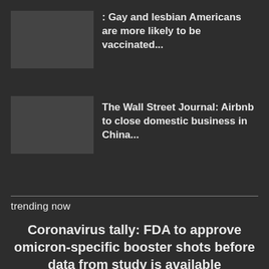: Gay and lesbian Americans are more likely to be vaccinated...
The Wall Street Journal: Airbnb to close domestic business in China...
trending now
Coronavirus tally: FDA to approve omicron-specific booster shots before data from study is available
SportsWatch: When does Serena Williams play at